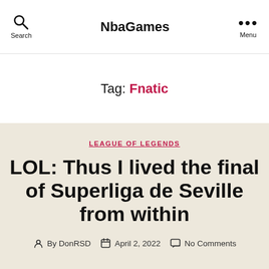NbaGames
Tag: Fnatic
LEAGUE OF LEGENDS
LOL: Thus I lived the final of Superliga de Seville from within
By DonRSD   April 2, 2022   No Comments